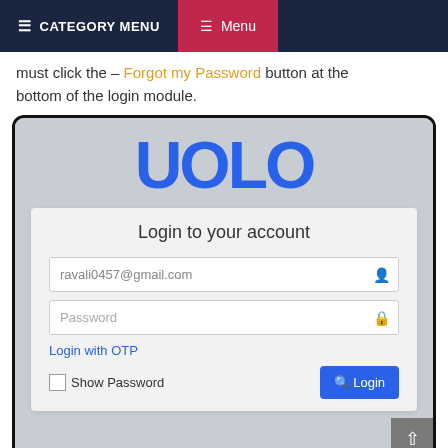CATEGORY MENU   Menu
must click the – Forgot my Password button at the bottom of the login module.
[Figure (screenshot): Screenshot of UOLO login page showing logo, email field with ravali0457@gmail.com, password field, Login with OTP link, Show Password checkbox, and Login button.]